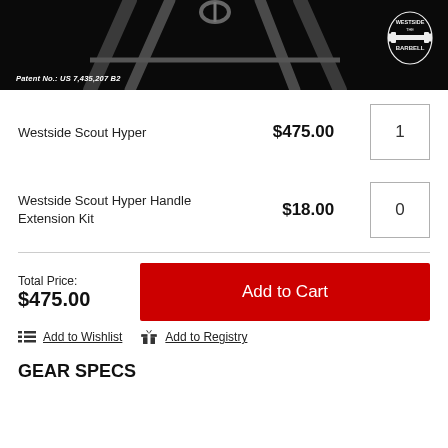[Figure (photo): Black and white product photo of the Westside Scout Hyper exercise equipment (a hyperextension bench frame). The Westside Barbell logo is visible in the upper right corner. Patent number text reads 'Patent No.: US 7,435,207 B2' in the lower left.]
| Product | Price | Qty |
| --- | --- | --- |
| Westside Scout Hyper | $475.00 | 1 |
| Westside Scout Hyper Handle Extension Kit | $18.00 | 0 |
Total Price: $475.00
Add to Cart
Add to Wishlist
Add to Registry
GEAR SPECS